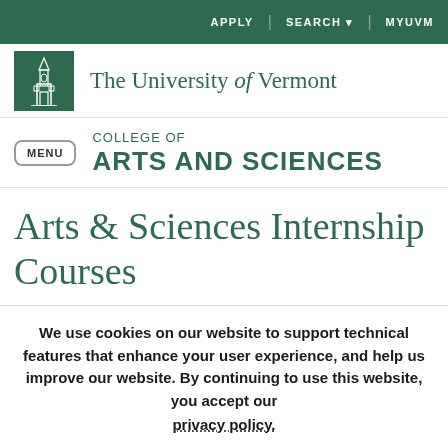APPLY  SEARCH  MYUVM
[Figure (logo): University of Vermont building/church tower logo in white on green background square]
The University of Vermont
COLLEGE OF ARTS AND SCIENCES
Arts & Sciences Internship Courses
We use cookies on our website to support technical features that enhance your user experience, and help us improve our website. By continuing to use this website, you accept our privacy policy.